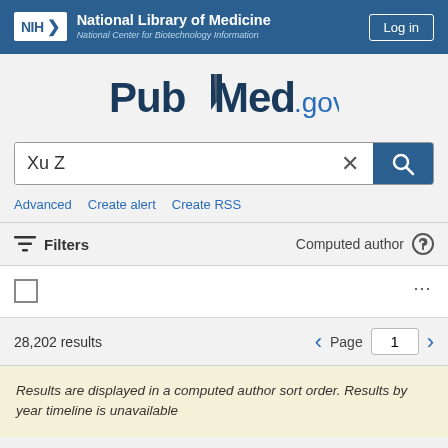NIH National Library of Medicine - National Center for Biotechnology Information | Log in
[Figure (logo): PubMed.gov logo with bookmark icon]
Xu Z
Advanced   Create alert   Create RSS
Filters   Computed author
...
28,202 results   Page 1
Results are displayed in a computed author sort order. Results by year timeline is unavailable